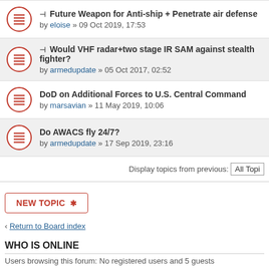Future Weapon for Anti-ship + Penetrate air defense by eloise » 09 Oct 2019, 17:53
Would VHF radar+two stage IR SAM against stealth fighter? by armedupdate » 05 Oct 2017, 02:52
DoD on Additional Forces to U.S. Central Command by marsavian » 11 May 2019, 10:06
Do AWACS fly 24/7? by armedupdate » 17 Sep 2019, 23:16
Display topics from previous: All Topi
NEW TOPIC
Return to Board index
WHO IS ONLINE
Users browsing this forum: No registered users and 5 guests